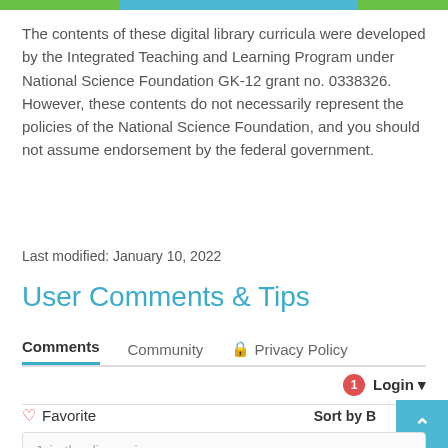The contents of these digital library curricula were developed by the Integrated Teaching and Learning Program under National Science Foundation GK-12 grant no. 0338326. However, these contents do not necessarily represent the policies of the National Science Foundation, and you should not assume endorsement by the federal government.
Last modified: January 10, 2022
User Comments & Tips
Comments   Community   🔒 Privacy Policy
1  Login ▾
♡ Favorite    Sort by B
Join the discussion...